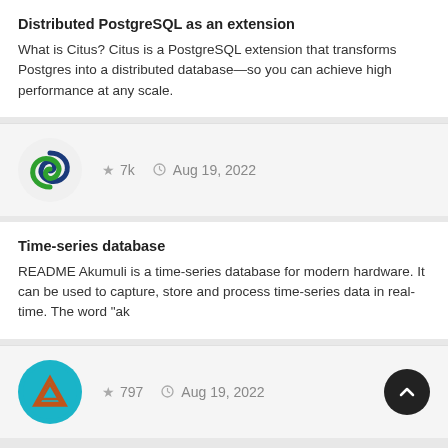Distributed PostgreSQL as an extension
What is Citus? Citus is a PostgreSQL extension that transforms Postgres into a distributed database—so you can achieve high performance at any scale.
[Figure (logo): Citus logo: blue and green swirl on light grey circle background]
★ 7k  🕐 Aug 19, 2022
Time-series database
README Akumuli is a time-series database for modern hardware. It can be used to capture, store and process time-series data in real-time. The word "ak
[Figure (logo): Akumuli logo: teal circle with triangular A shape outline]
★ 797  🕐 Aug 19, 2022